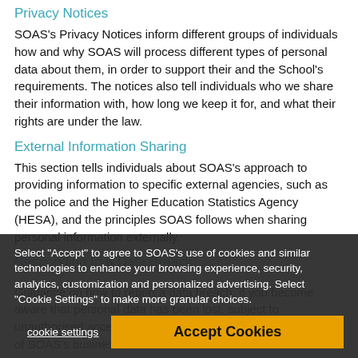Privacy Notices
SOAS's Privacy Notices inform different groups of individuals how and why SOAS will process different types of personal data about them, in order to support their and the School's requirements. The notices also tell individuals who we share their information with, how long we keep it for, and what their rights are under the law.
External Information Sharing
This section tells individuals about SOAS's approach to providing information to specific external agencies, such as the police and the Higher Education Statistics Agency (HESA), and the principles SOAS follows when sharing personal information externally.
Responding to a Data Breach
Guidance on how to report a data breach, if you become aware that personal data has been lost, subject to unauthorised access or unauthorised alteration in the course of SOAS's business.
Data Protection Impact Assessments
Select "Accept" to agree to SOAS's use of cookies and similar technologies to enhance your browsing experience, security, analytics, customization and personalized advertising. Select "Cookie Settings" to make more granular choices.